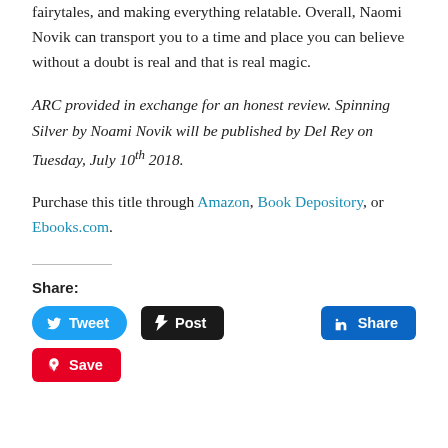fairytales, and making everything relatable. Overall, Naomi Novik can transport you to a time and place you can believe without a doubt is real and that is real magic.
ARC provided in exchange for an honest review. Spinning Silver by Noami Novik will be published by Del Rey on Tuesday, July 10th 2018.
Purchase this title through Amazon, Book Depository, or Ebooks.com.
Share: Tweet Post Share Save